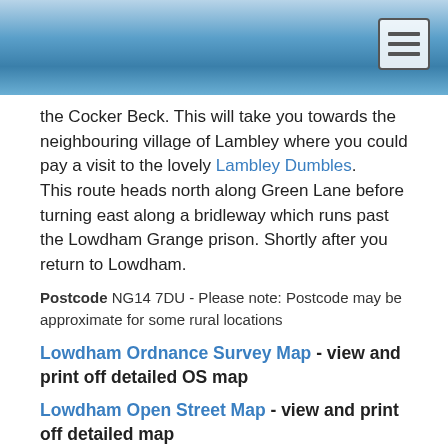the Cocker Beck. This will take you towards the neighbouring village of Lambley where you could pay a visit to the lovely Lambley Dumbles.
This route heads north along Green Lane before turning east along a bridleway which runs past the Lowdham Grange prison. Shortly after you return to Lowdham.
Postcode NG14 7DU - Please note: Postcode may be approximate for some rural locations
Lowdham Ordnance Survey Map - view and print off detailed OS map
Lowdham Open Street Map - view and print off detailed map
Walks near Lowdham